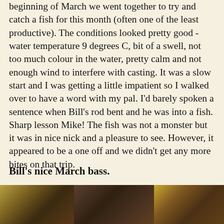beginning of March we went together to try and catch a fish for this month (often one of the least productive). The conditions looked pretty good - water temperature 9 degrees C, bit of a swell, not too much colour in the water, pretty calm and not enough wind to interfere with casting. It was a slow start and I was getting a little impatient so I walked over to have a word with my pal. I'd barely spoken a sentence when Bill's rod bent and he was into a fish. Sharp lesson Mike! The fish was not a monster but it was in nice nick and a pleasure to see. However, it appeared to be a one off and we didn't get any more bites on that trip.
Bill's nice March bass.
[Figure (photo): Photograph of Bill's March bass catch, showing a fish being held, with outdoor/water background.]